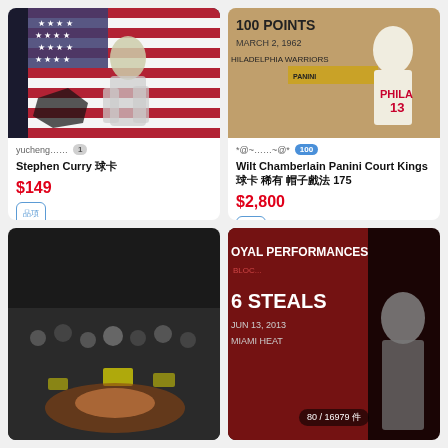[Figure (photo): Stephen Curry basketball card with American flag background]
yucheng…… 1
Stephen Curry 球卡
$149
[Figure (photo): Wilt Chamberlain Panini Court Kings card - 100 Points March 2 1962 Philadelphia Warriors]
*@~……~@* 100
Wilt Chamberlain Panini Court Kings 球卡 稀有 帽子戲法 175
$2,800
[Figure (photo): Basketball game crowd scene]
[Figure (photo): Royal Performances card - 6 Steals Jun 13 2013 Miami Heat]
80 / 16979 件